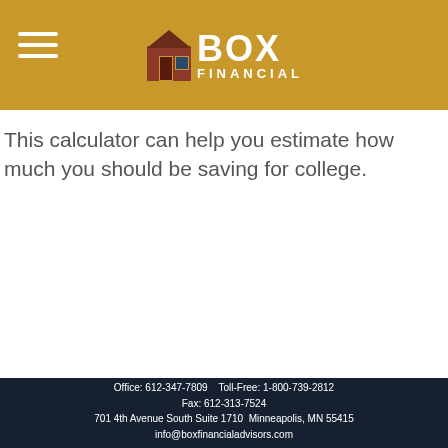[Figure (logo): Box Financial logo with golden/tan header background, hamburger menu icon on left, house-shaped icon and BOX FINANCIAL text in center]
This calculator can help you estimate how much you should be saving for college.
Office: 612-347-7809    Toll-Free: 1-800-739-2812
Fax: 612-313-7524
701 4th Avenue South Suite 1710  Minneapolis, MN 55415
info@boxfinancialadvisors.com

Check the background of your financial professional on FINRA's BrokerCheck.

The content is developed from sources believed to be providing accurate information. The information in this material is not intended as tax or legal advice. Please consult legal or